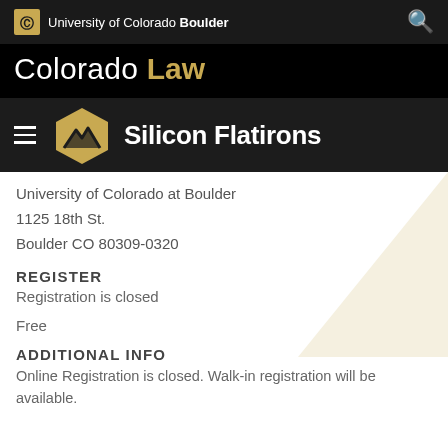University of Colorado Boulder
Colorado Law
[Figure (logo): Silicon Flatirons logo with hexagonal mountain icon and text 'Silicon Flatirons']
University of Colorado at Boulder
1125 18th St.
Boulder CO 80309-0320
REGISTER
Registration is closed
Free
ADDITIONAL INFO
Online Registration is closed. Walk-in registration will be available.